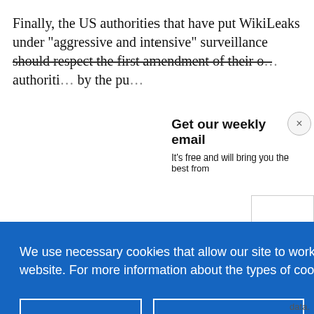Finally, the US authorities that have put WikiLeaks under “aggressive and intensive” surveillance should respect the first amendment of their o… authoriti… by the pu…
Get our weekly email
It’s free and will bring you the best from
We use necessary cookies that allow our site to work. We also set optional cookies that help us improve our website. For more information about the types of cookies we use. READ OUR COOKIES POLICY HERE
COOKIE SETTINGS
ALLOW ALL COOKIES
data.
now US p…